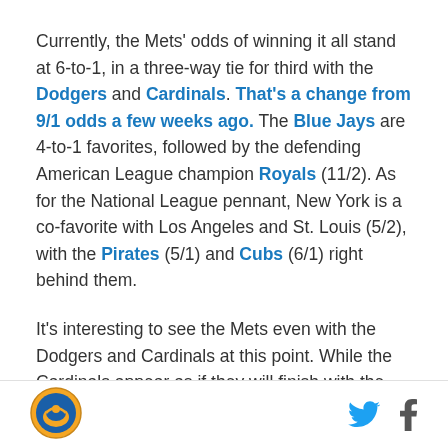Currently, the Mets' odds of winning it all stand at 6-to-1, in a three-way tie for third with the Dodgers and Cardinals. That's a change from 9/1 odds a few weeks ago. The Blue Jays are 4-to-1 favorites, followed by the defending American League champion Royals (11/2). As for the National League pennant, New York is a co-favorite with Los Angeles and St. Louis (5/2), with the Pirates (5/1) and Cubs (6/1) right behind them.
It's interesting to see the Mets even with the Dodgers and Cardinals at this point. While the Cardinals appear as if they will finish with the best record in baseball, the
[Figure (logo): Circular sports organization logo with orange and blue colors]
Twitter and Facebook social media icons